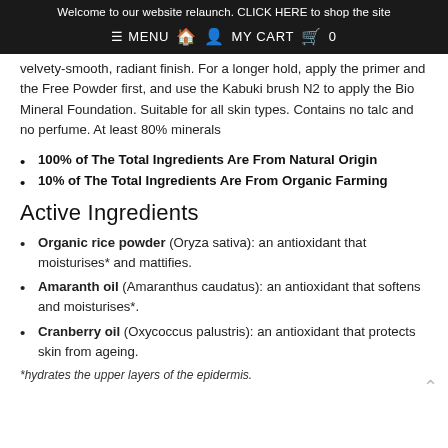Welcome to our website relaunch. CLICK HERE to shop the site
≡ MENU  🏠  👤  MY CART  🛍  0
velvety-smooth, radiant finish. For a longer hold, apply the primer and the Free Powder first, and use the Kabuki brush N2 to apply the Bio Mineral Foundation. Suitable for all skin types. Contains no talc and no perfume. At least 80% minerals
100% of The Total Ingredients Are From Natural Origin
10% of The Total Ingredients Are From Organic Farming
Active Ingredients
Organic rice powder (Oryza sativa): an antioxidant that moisturises* and mattifies.
Amaranth oil (Amaranthus caudatus): an antioxidant that softens and moisturises*.
Cranberry oil (Oxycoccus palustris): an antioxidant that protects skin from ageing.
*hydrates the upper layers of the epidermis.